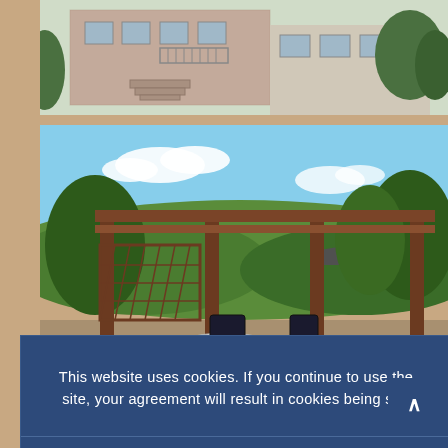[Figure (photo): Exterior photo of a building with red brick facade, balconies, and trees in the background]
[Figure (photo): Outdoor terrace photo with wooden pergola structure, round white tables and dark chairs, garden and valley landscape visible in the background]
This website uses cookies. If you continue to use the site, your agreement will result in cookies being set.
Yes i accept
NEIN